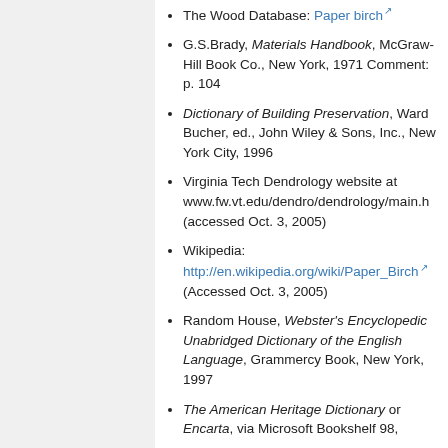The Wood Database: Paper birch
G.S.Brady, Materials Handbook, McGraw-Hill Book Co., New York, 1971 Comment: p. 104
Dictionary of Building Preservation, Ward Bucher, ed., John Wiley & Sons, Inc., New York City, 1996
Virginia Tech Dendrology website at www.fw.vt.edu/dendro/dendrology/main.h (accessed Oct. 3, 2005)
Wikipedia: http://en.wikipedia.org/wiki/Paper_Birch (Accessed Oct. 3, 2005)
Random House, Webster's Encyclopedic Unabridged Dictionary of the English Language, Grammercy Book, New York, 1997
The American Heritage Dictionary or Encarta, via Microsoft Bookshelf 98,